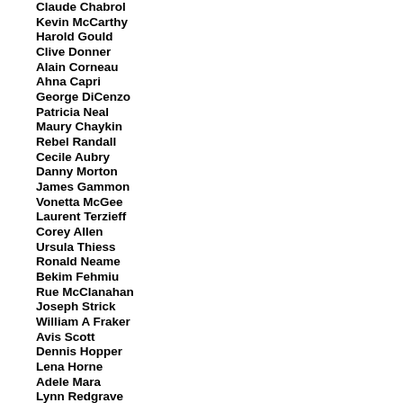Claude Chabrol
Kevin McCarthy
Harold Gould
Clive Donner
Alain Corneau
Ahna Capri
George DiCenzo
Patricia Neal
Maury Chaykin
Rebel Randall
Cecile Aubry
Danny Morton
James Gammon
Vonetta McGee
Laurent Terzieff
Corey Allen
Ursula Thiess
Ronald Neame
Bekim Fehmiu
Rue McClanahan
Joseph Strick
William A Fraker
Avis Scott
Dennis Hopper
Lena Horne
Adele Mara
Lynn Redgrave
Dorothy Provine
Anabel Shaw
Richard Shaw
Christopher Cazenove
Corin Redgrave
James Aubrey
John Forsythe
Shirley Mills